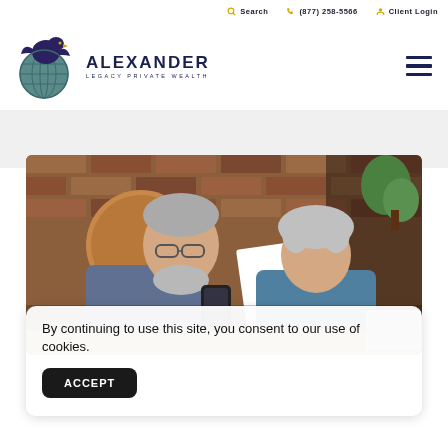Search | (877) 258-5566 | Client Login
[Figure (logo): Alexander Legacy Private Wealth logo — eagle on globe with company name]
[Figure (photo): Elderly couple reviewing financial documents together at a table, man holding phone, woman holding paper, brick wall background]
By continuing to use this site, you consent to our use of cookies.
ACCEPT